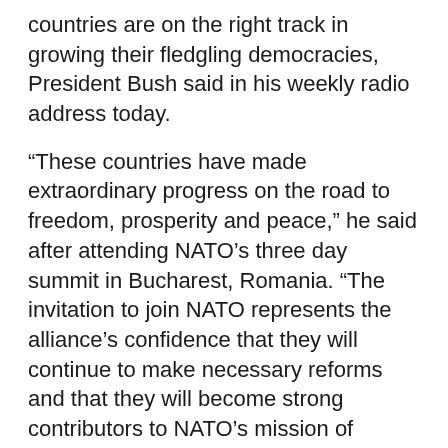countries are on the right track in growing their fledgling democracies, President Bush said in his weekly radio address today.
“These countries have made extraordinary progress on the road to freedom, prosperity and peace,” he said after attending NATO’s three day summit in Bucharest, Romania. “The invitation to join NATO represents the alliance’s confidence that they will continue to make necessary reforms and that they will become strong contributors to NATO’s mission of collective defense.”
Albania and Croatia join the ranks of 10 liberated nations, including Romania, that have joined NATO since the end of the Cold War, Bush said.
“After decades of tyranny and oppression, today Romania is an important member of an international alliance dedicated to liberty,” he said. “It is setting a bold